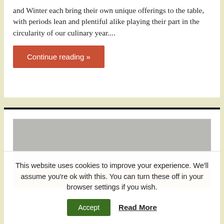and Winter each bring their own unique offerings to the table, with periods lean and plentiful alike playing their part in the circularity of our culinary year....
Continue reading »
[Figure (photo): Food photograph showing baked goods or pastries on a light grey background]
This website uses cookies to improve your experience. We'll assume you're ok with this. You can turn these off in your browser settings if you wish.
Accept
Read More